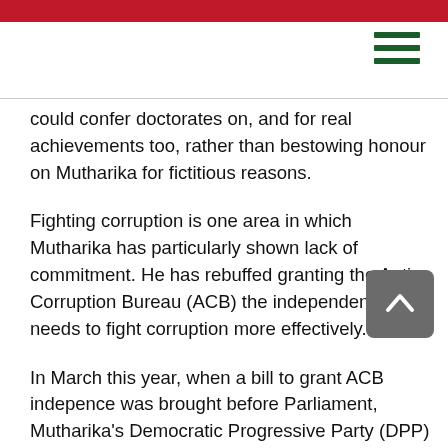could confer doctorates on, and for real achievements too, rather than bestowing honour on Mutharika for fictitious reasons.
Fighting corruption is one area in which Mutharika has particularly shown lack of commitment. He has rebuffed granting the Anti-Corruption Bureau (ACB) the independence it needs to fight corruption more effectively.
In March this year, when a bill to grant ACB independence was brought before Parliament, Mutharika's Democratic Progressive Party (DPP) and its allies defeated it handily, and Mutharika was gleeful that the bill had failed.
This was despite the fact that both in the DPP's manifesto and also in his own speeches during the general election